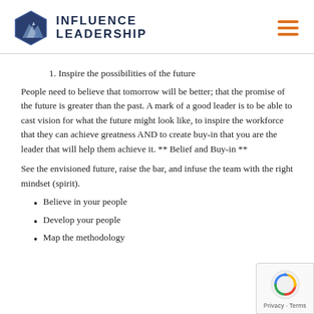INFLUENCE LEADERSHIP
1. Inspire the possibilities of the future
People need to believe that tomorrow will be better; that the promise of the future is greater than the past. A mark of a good leader is to be able to cast vision for what the future might look like, to inspire the workforce that they can achieve greatness AND to create buy-in that you are the leader that will help them achieve it. ** Belief and Buy-in **
See the envisioned future, raise the bar, and infuse the team with the right mindset (spirit).
Believe in your people
Develop your people
Map the methodology